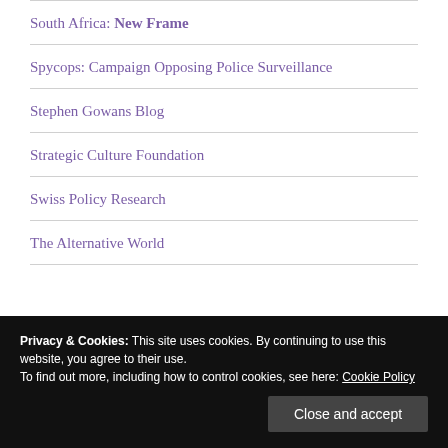South Africa: New Frame
Spycops: Campaign Opposing Police Surveillance
Stephen Gowans Blog
Strategic Culture Foundation
Swiss Policy Research
The Alternative World
Privacy & Cookies: This site uses cookies. By continuing to use this website, you agree to their use.
To find out more, including how to control cookies, see here: Cookie Policy